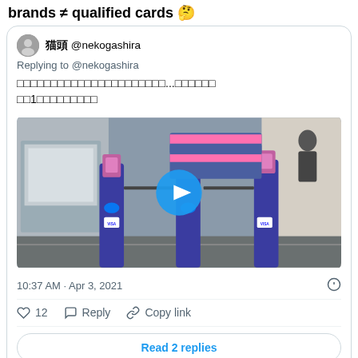brands ≠ qualified cards 🤔
猫頭 @nekogashira
Replying to @nekogashira
□□□□□□□□□□□□□□□□□□□□□□...□□□□□□
□□1□□□□□□□□□
[Figure (screenshot): Photo/video thumbnail of transit fare gates (turnstiles) with blue pillars and Visa contactless payment readers, with a play button overlay.]
10:37 AM · Apr 3, 2021
♡ 12   Reply   Copy link
Read 2 replies